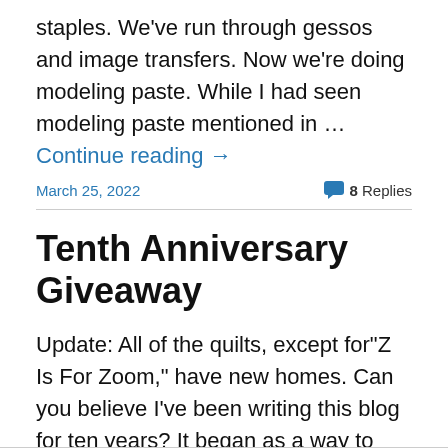staples. We've run through gessos and image transfers. Now we're doing modeling paste. While I had seen modeling paste mentioned in … Continue reading →
March 25, 2022
8 Replies
Tenth Anniversary Giveaway
Update: All of the quilts, except for"Z Is For Zoom," have new homes. Can you believe I've been writing this blog for ten years? It began as a way to record my quilting adventures - work in progress, my finished work, shows I saw, artists I admired, and a few editorial opinions. If others were … Continue reading →
March 18, 2022
8 Replies